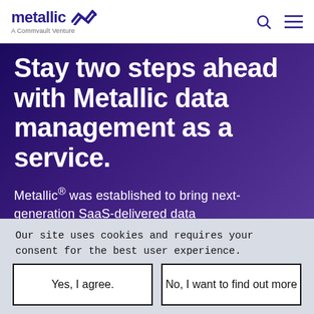metallic - A Commvault Venture
Stay two steps ahead with Metallic data management as a service.
Metallic® was established to bring next-generation SaaS-delivered data
Our site uses cookies and requires your consent for the best user experience.
PRIVACY POLICY   TERMS OF USE
Yes, I agree.
No, I want to find out more